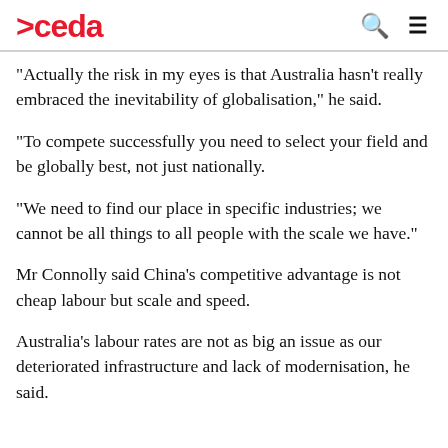>ceda
"Actually the risk in my eyes is that Australia hasn't really embraced the inevitability of globalisation," he said.
"To compete successfully you need to select your field and be globally best, not just nationally.
"We need to find our place in specific industries; we cannot be all things to all people with the scale we have."
Mr Connolly said China's competitive advantage is not cheap labour but scale and speed.
Australia's labour rates are not as big an issue as our deteriorated infrastructure and lack of modernisation, he said.